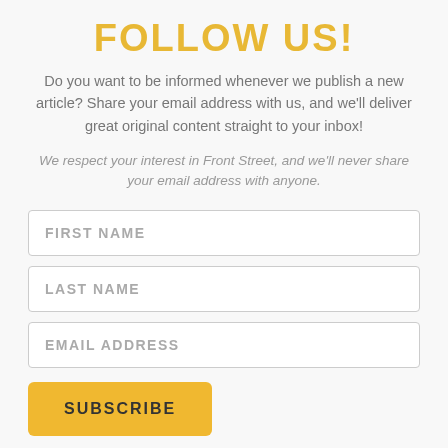FOLLOW US!
Do you want to be informed whenever we publish a new article? Share your email address with us, and we'll deliver great original content straight to your inbox!
We respect your interest in Front Street, and we'll never share your email address with anyone.
FIRST NAME
LAST NAME
EMAIL ADDRESS
SUBSCRIBE